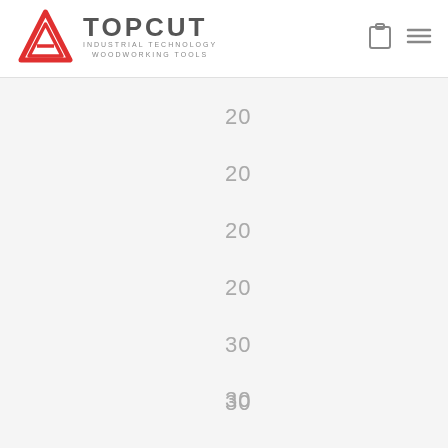TOPCUT INDUSTRIAL TECHNOLOGY WOODWORKING TOOLS
20
20
20
20
30
30
30
30
30